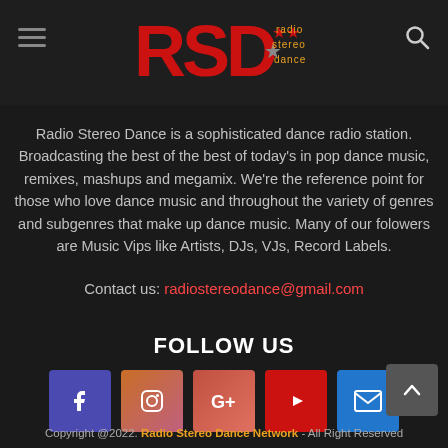Radio Stereo Dance - RSD logo header
Radio Stereo Dance is a sophisticated dance radio station. Broadcasting the best of the best of today's in pop dance music, remixes, mashups and megamix. We're the reference point for those who love dance music and throughout the variety of genres and subgenres that make up dance music. Many of our folowers are Music Vips like Artists, DJs, VJs, Record Labels.
Contact us: radiostereodance@gmail.com
FOLLOW US
[Figure (infographic): Row of 5 social media icon buttons: Facebook (blue-purple), Instagram (orange-pink gradient), Google+ (red-orange gradient), YouTube (red), Email/envelope (blue)]
Copyright @2022. Radio Stereo Dance Network - All Right Reserved